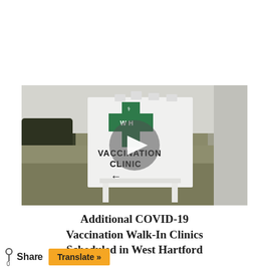[Figure (photo): Outdoor photo of a white A-frame sign reading 'VACCINATION CLINIC' with a left-pointing arrow, featuring a green cross with 'WH' letters and a caduceus symbol. The sign is on a grass lawn. A circular play button overlay is centered on the image, indicating a video thumbnail.]
Additional COVID-19 Vaccination Walk-In Clinics Scheduled in West Hartford
Share
Translate »